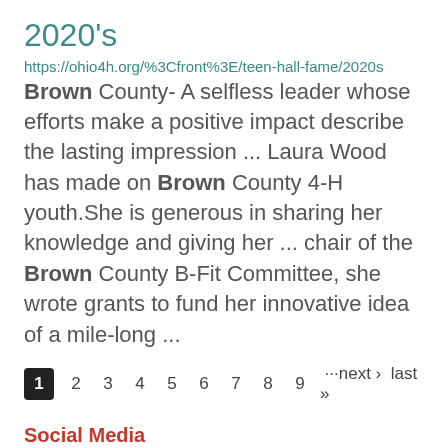2020's
https://ohio4h.org/%3Cfront%3E/teen-hall-fame/2020s
Brown County- A selfless leader whose efforts make a positive impact describe the lasting impression ... Laura Wood has made on Brown County 4-H youth.She is generous in sharing her knowledge and giving her ... chair of the Brown County B-Fit Committee, she wrote grants to fund her innovative idea of a mile-long ...
1 2 3 4 5 6 7 8 9 ···next › last »
Social Media